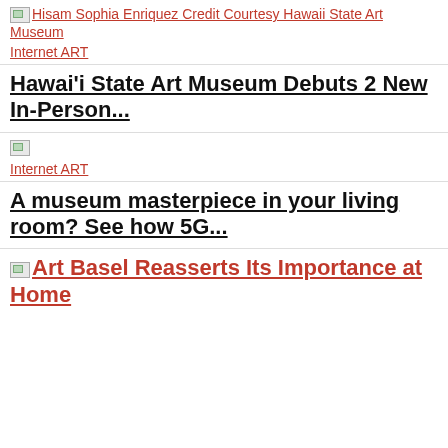Hisam Sophia Enriquez Credit Courtesy Hawaii State Art Museum
Internet ART
Hawai'i State Art Museum Debuts 2 New In-Person...
[Figure (photo): Broken image placeholder]
Internet ART
A museum masterpiece in your living room? See how 5G...
Art Basel Reasserts Its Importance at Home